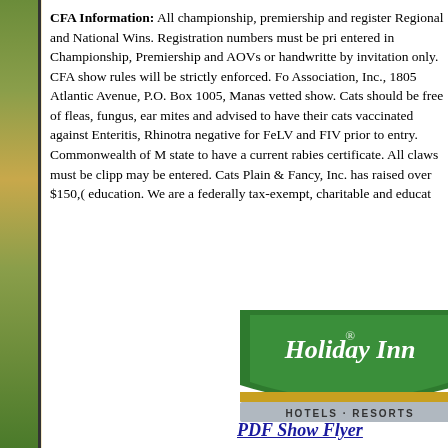CFA Information: All championship, premiership and register Regional and National Wins. Registration numbers must be pri entered in Championship, Premiership and AOVs or handwritte by invitation only. CFA show rules will be strictly enforced. Fo Association, Inc., 1805 Atlantic Avenue, P.O. Box 1005, Manas vetted show. Cats should be free of fleas, fungus, ear mites and advised to have their cats vaccinated against Enteritis, Rhinotra negative for FeLV and FIV prior to entry. Commonwealth of M state to have a current rabies certificate. All claws must be clipp may be entered. Cats Plain & Fancy, Inc. has raised over $150,( education. We are a federally tax-exempt, charitable and educat
[Figure (logo): Holiday Inn Hotels & Resorts logo — green shield shape with white cursive text 'Holiday Inn' and gold/grey banner below reading 'HOTELS · RESORTS']
PDF Show Flyer
Junior Showmanship E
Map